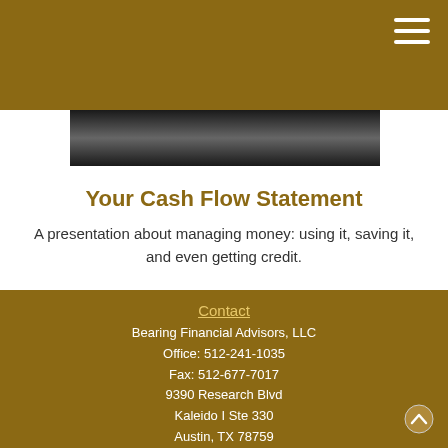[Figure (photo): Dark banner/hero image strip]
Your Cash Flow Statement
A presentation about managing money: using it, saving it, and even getting credit.
Contact
Bearing Financial Advisors, LLC
Office: 512-241-1035
Fax: 512-677-7017
9390 Research Blvd
Kaleido I Ste 330
Austin, TX 78759
admin@bearingfinancial.com